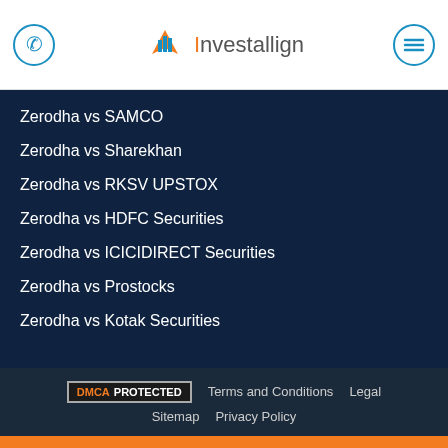Investallign - phone and menu icons
Zerodha vs SAMCO
Zerodha vs Sharekhan
Zerodha vs RKSV UPSTOX
Zerodha vs HDFC Securities
Zerodha vs ICICIDIRECT Securities
Zerodha vs Prostocks
Zerodha vs Kotak Securities
DMCA PROTECTED | Terms and Conditions | Legal | Sitemap | Privacy Policy
ZERO BROKERAGE DEMAT ACCOUNT